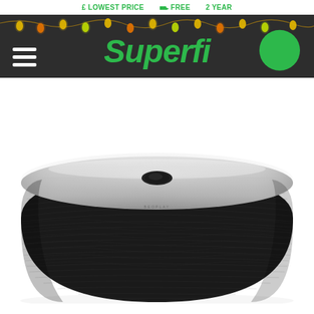£ LOWEST PRICE  FREE  2 YEAR
[Figure (screenshot): Superfi retail website header with dark grey navigation bar showing hamburger menu on left, green italic Superfi logo in center, green circle icon on right, and Christmas fairy lights decoration along the top of the nav bar]
[Figure (photo): Close-up product photo of a large black cylindrical wireless speaker with textured fabric grille and brushed silver/aluminium top panel with a small dark button in the center]